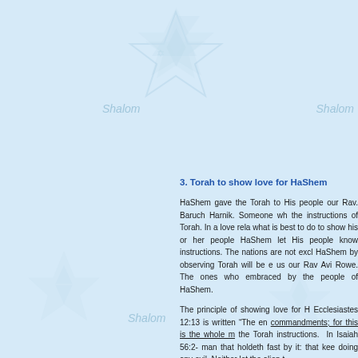[Figure (illustration): Light blue background with Star of David watermark illustrations and 'Shalom' text watermarks positioned at top-left, top-right, lower-left, and center areas of the page.]
3. Torah to show love for HaShem
HaShem gave the Torah to His people our Rav. Baruch Harnik. Someone who the instructions of Torah. In a love relato what is best to do to show his or her l people HaShem let His people know instructions. The nations are not exclu HaShem by observing Torah will be en us our Rav Avi Rowe. The ones who embraced by the people of HaShem.
The principle of showing love for H Ecclesiastes 12:13 is written “The enc commandments; for this is the whole m the Torah instructions. In Isaiah 56:2- man that holdeth fast by it: that keep doing any evil. Neither let the alien t